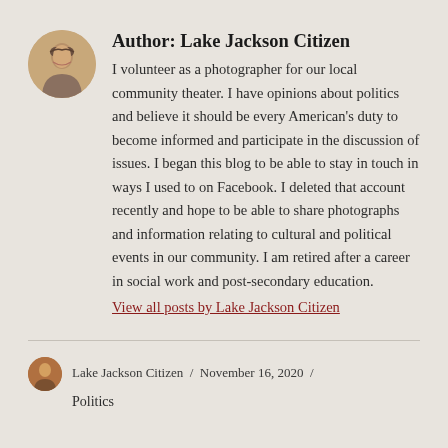Author: Lake Jackson Citizen
I volunteer as a photographer for our local community theater. I have opinions about politics and believe it should be every American's duty to become informed and participate in the discussion of issues. I began this blog to be able to stay in touch in ways I used to on Facebook. I deleted that account recently and hope to be able to share photographs and information relating to cultural and political events in our community. I am retired after a career in social work and post-secondary education.
View all posts by Lake Jackson Citizen
Lake Jackson Citizen / November 16, 2020 /
Politics